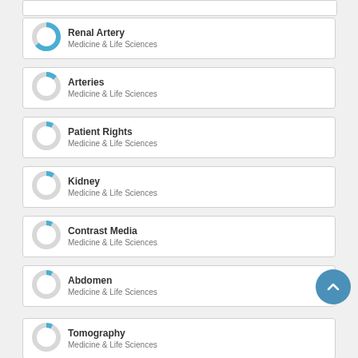Renal Artery
Medicine & Life Sciences
Arteries
Medicine & Life Sciences
Patient Rights
Medicine & Life Sciences
Kidney
Medicine & Life Sciences
Contrast Media
Medicine & Life Sciences
Abdomen
Medicine & Life Sciences
Tomography
Medicine & Life Sciences